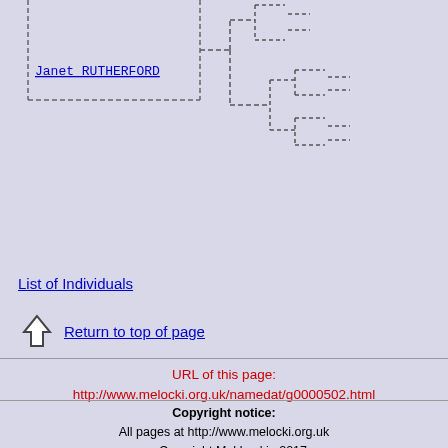[Figure (other): Genealogy tree diagram showing name 'Janet RUTHERFORD' with dashed-line family tree branches extending to the right]
List of Individuals
Return to top of page
URL of this page:
http://www.melocki.org.uk/namedat/g0000502.html
Copyright notice:
All pages at http://www.melocki.org.uk
are Copyright Mel Lockie 2017.
All rights reserved.
For a detailed copyright policy see:Conditions of Use.
[Last updated 29 Oct 2017 - 05:20 by Mel Lockie]